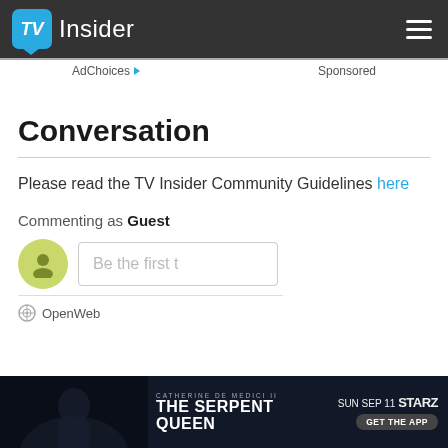TV Insider
AdChoices   Sponsored
Conversation
Please read the TV Insider Community Guidelines here
Commenting as Guest
Be the first t
OpenWeb
[Figure (photo): Bottom advertisement banner for The Serpent Queen on STARZ, Sunday Sep 11. Show GET THE APP button.]